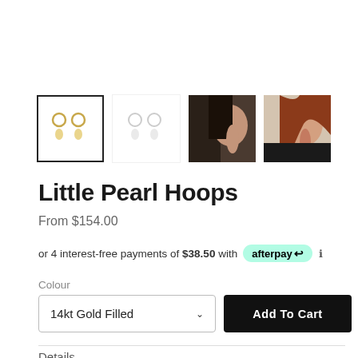[Figure (photo): Four product thumbnail images of Little Pearl Hoops earrings: first (selected with border) shows gold hoop earrings with pearl drops on white background, second shows silver/white version on white background, third and fourth show model wearing the earrings in profile view]
Little Pearl Hoops
From $154.00
or 4 interest-free payments of $38.50 with afterpay ℹ
Colour
14kt Gold Filled
Add To Cart
Details